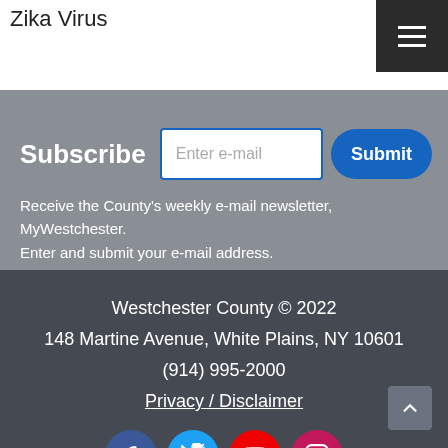Zika Virus
Subscribe
Receive the County's weekly e-mail newsletter, MyWestchester. Enter and submit your e-mail address.
Westchester County © 2022
148 Martine Avenue, White Plains, NY 10601
(914) 995-2000
Privacy / Disclaimer